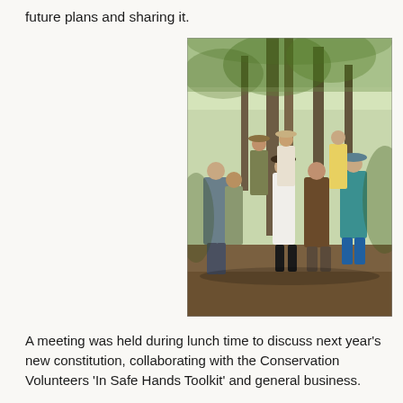future plans and sharing it.
[Figure (photo): A group of people standing in a forest/bush setting, gathered around trees, appearing to be on a nature walk or conservation activity. Several people are wearing hats suitable for outdoor activity.]
A meeting was held during lunch time to discuss next year's new constitution, collaborating with the Conservation Volunteers 'In Safe Hands Toolkit' and general business.